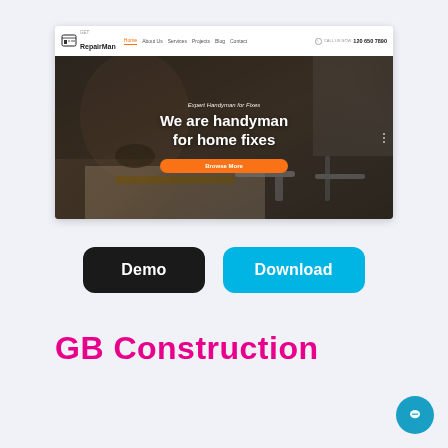[Figure (screenshot): Screenshot of RepairMan website homepage showing navigation bar with logo and links (Home, About Us, Services, Projects, Blog, Contact), phone number 120 650 7890, and hero section with background photo of a handyman working with tools. Hero text reads 'Expert Handyman for Fixes' and 'We are handyman for home fixes' with an orange 'Browse More' button.]
[Figure (other): Two buttons: dark 'Demo' button and cyan 'Download' button]
GB Construction